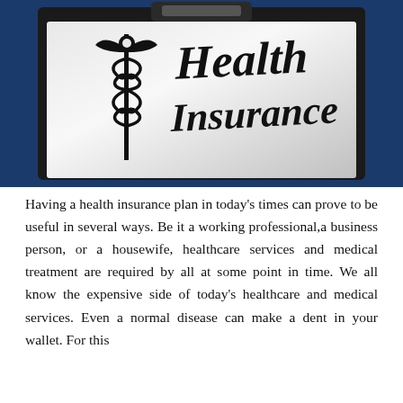[Figure (illustration): A clipboard with a caduceus medical symbol on the left and the text 'Health Insurance' in bold serif font on white paper, set against a dark blue background.]
Having a health insurance plan in today's times can prove to be useful in several ways. Be it a working professional,a business person, or a housewife, healthcare services and medical treatment are required by all at some point in time. We all know the expensive side of today's healthcare and medical services. Even a normal disease can make a dent in your wallet. For this